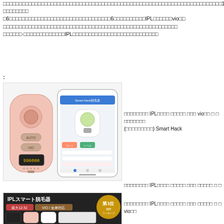□□□□□□□□□□□□□□□□□□□□□□□□□□□□□□□□□□□□□□□□□□□□□□□□□□□□□□□□□□□□□□□□□□□□□12.5□□□□□□□□□□140g□□□□IPL□□□□□□VIO□□□□□□□□□□□□□□□□□□□□□□□□□□□6□□□□□□□□□□□□□□□□□□□□□□□□□□6□□□□□□□□□□IPL□□□□□□□vio□□□□□□□□□□□□□□□□□□□□□□□□□□□□□□□□□□□□□□□□□□□□□□□□□□□□□□□□□□□□·□□□□□□□□□□□□□IPL□□□□□□□□□□□□□□□□□□□□□□□□□□□
:
[Figure (photo): IPL hair removal device (pink) next to a smartphone showing the Smart Hack app interface with device display showing 996000]
□□□□□□□□ IPL□□□□ □□□□□ □□□ vio□□ □ □ □□□□□□□ (□□□□□□□□□) Smart Hack
□□□□□□□□ IPL□□□□ □□□□□ □□□ □□□□□ □ □
[Figure (photo): Product banner for IPL Smart hair removal device showing: IPLスマート脱毛器, 最大12.5J, VIO/全身対応, 第1位, with multiple device color variants]
□□□□□□□□ IPL□□□□ □□□□□ □□□ □□□□□ □ □ vio□□